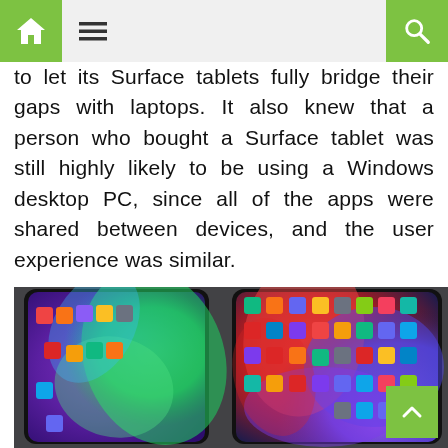Home | Menu | Search
to let its Surface tablets fully bridge their gaps with laptops. It also knew that a person who bought a Surface tablet was still highly likely to be using a Windows desktop PC, since all of the apps were shared between devices, and the user experience was similar.
[Figure (photo): Two iPad Pro tablets side by side on a dark surface, each displaying colorful app icon home screens — left tablet has a purple/green fluid wallpaper, right tablet has a red/blue fluid wallpaper.]